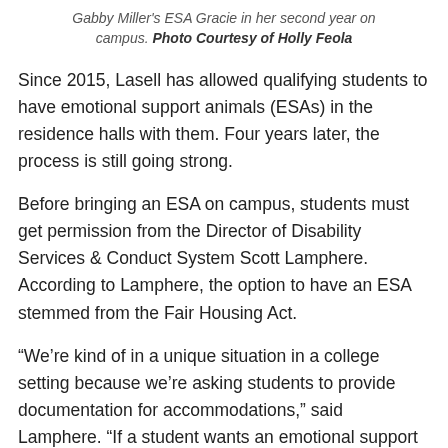Gabby Miller's ESA Gracie in her second year on campus. Photo Courtesy of Holly Feola
Since 2015, Lasell has allowed qualifying students to have emotional support animals (ESAs) in the residence halls with them. Four years later, the process is still going strong.
Before bringing an ESA on campus, students must get permission from the Director of Disability Services & Conduct System Scott Lamphere. According to Lamphere, the option to have an ESA stemmed from the Fair Housing Act.
“We’re kind of in a unique situation in a college setting because we’re asking students to provide documentation for accommodations,” said Lamphere. “If a student wants an emotional support animal, our policy is to provide substantial